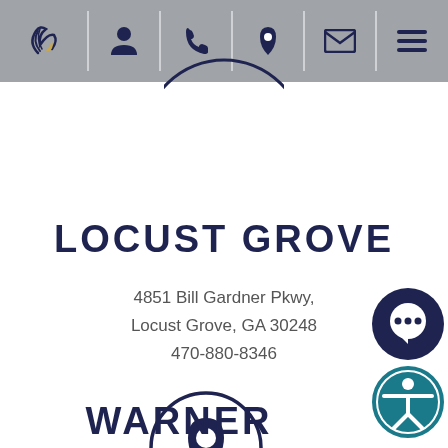[Figure (screenshot): Navigation bar with logo, person icon, phone icon, location pin icon, mail icon, and hamburger menu icon on grey background]
[Figure (illustration): Partial circle outline at top center, location icon style]
LOCUST GROVE
4851 Bill Gardner Pkwy,
Locust Grove, GA 30248
470-880-8346
[Figure (illustration): Circle with location pin icon inside, dark navy color]
WARNER ROBINS
[Figure (illustration): Dark navy chat bubble icon button on right side]
[Figure (illustration): Teal accessibility icon button on right side]